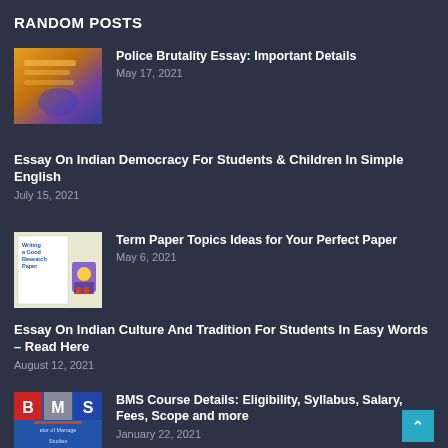RANDOM POSTS
[Figure (photo): Thumbnail image showing hands writing on an orange notebook with purple background]
Police Brutality Essay: Important Details
May 17, 2021
Essay On Indian Democracy For Students & Children In Simple English
July 15, 2021
[Figure (illustration): Thumbnail illustration showing 'Writing a Good Research Paper' text with a student at a desk]
Term Paper Topics Ideas for Your Perfect Paper
May 6, 2021
Essay On Indian Culture And Tradition For Students In Easy Words – Read Here
August 12, 2021
[Figure (logo): BMS logo with blue background showing B M S letters and text 'elor of Manage Studies']
BMS Course Details: Eligibility, Syllabus, Salary, Fees, Scope and more
January 22, 2021